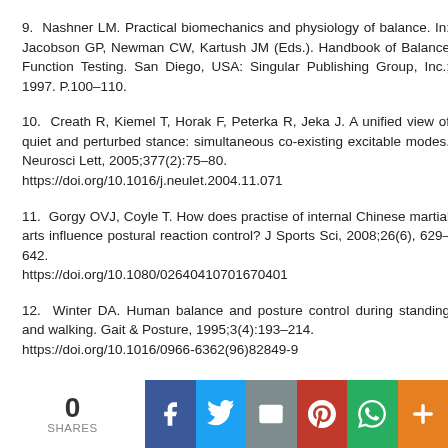9. Nashner LM. Practical biomechanics and physiology of balance. In: Jacobson GP, Newman CW, Kartush JM (Eds.). Handbook of Balance Function Testing. San Diego, USA: Singular Publishing Group, Inc.; 1997. P.100–110.
10. Creath R, Kiemel T, Horak F, Peterka R, Jeka J. A unified view of quiet and perturbed stance: simultaneous co-existing excitable modes. Neurosci Lett, 2005;377(2):75–80. https://doi.org/10.1016/j.neulet.2004.11.071
11. Gorgy OVJ, Coyle T. How does practise of internal Chinese martial arts influence postural reaction control? J Sports Sci, 2008;26(6), 629–642. https://doi.org/10.1080/02640410701670401
12. Winter DA. Human balance and posture control during standing and walking. Gait & Posture, 1995;3(4):193–214. https://doi.org/10.1016/0966-6362(96)82849-9
0 SHARES [social share bar: Facebook, Twitter, Email, Pinterest, WhatsApp, More]